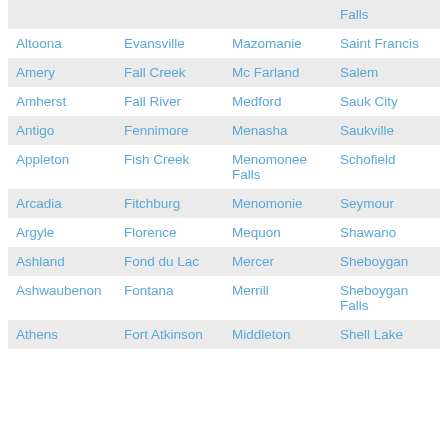|  |  |  | Falls |
| Altoona | Evansville | Mazomanie | Saint Francis |
| Amery | Fall Creek | Mc Farland | Salem |
| Amherst | Fall River | Medford | Sauk City |
| Antigo | Fennimore | Menasha | Saukville |
| Appleton | Fish Creek | Menomonee Falls | Schofield |
| Arcadia | Fitchburg | Menomonie | Seymour |
| Argyle | Florence | Mequon | Shawano |
| Ashland | Fond du Lac | Mercer | Sheboygan |
| Ashwaubenon | Fontana | Merrill | Sheboygan Falls |
| Athens | Fort Atkinson | Middleton | Shell Lake |